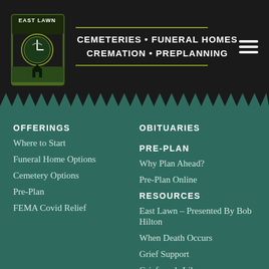[Figure (logo): East Lawn logo — circular clock/cemetery emblem with white text on dark background, framed in a square border with green and black coloring]
CEMETERIES • FUNERAL HOMES CREMATION • PREPLANNING
OFFERINGS
Where to Start
Funeral Home Options
Cemetery Options
Pre-Plan
FEMA Covid Relief
OBITUARIES
PRE-PLAN
Why Plan Ahead?
Pre-Plan Online
RESOURCES
East Lawn – Presented By Bob Hilton
When Death Occurs
Grief Support
Griefwords Library